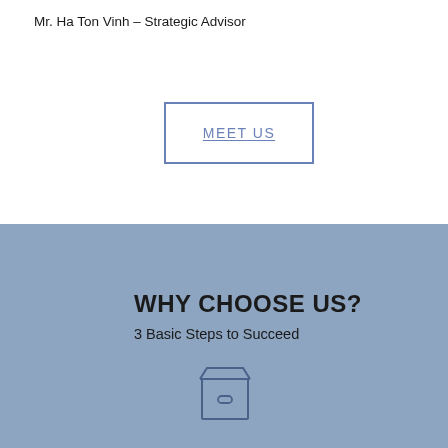Mr. Ha Ton Vinh – Strategic Advisor
MEET US
WHY CHOOSE US?
3 Basic Steps to Succeed
[Figure (illustration): Line drawing icon of a box/package with a handle/clasp on the front face]